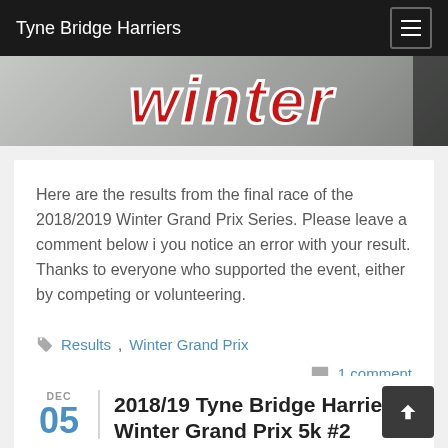Tyne Bridge Harriers
[Figure (photo): Partial banner image showing the word 'winter' in red italic text on a grey/snowy background]
Here are the results from the final race of the 2018/2019 Winter Grand Prix Series. Please leave a comment below i you notice an error with your result. Thanks to everyone who supported the event, either by competing or volunteering.
Results, Winter Grand Prix
1 comment
2018/19 Tyne Bridge Harriers Winter Grand Prix 5k #2